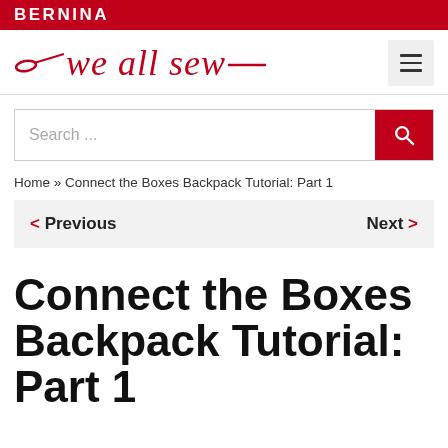BERNINA
[Figure (logo): We All Sew logo — needle graphic followed by italic red text 'we all sew' with dashes, plus hamburger menu icon]
Search ...
Home » Connect the Boxes Backpack Tutorial: Part 1
< Previous   Next >
Connect the Boxes Backpack Tutorial: Part 1